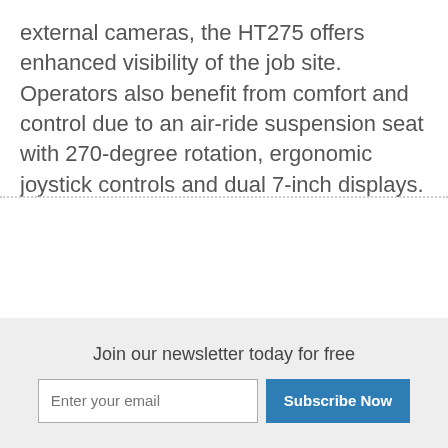external cameras, the HT275 offers enhanced visibility of the job site. Operators also benefit from comfort and control due to an air-ride suspension seat with 270-degree rotation, ergonomic joystick controls and dual 7-inch displays.
Join our newsletter today for free